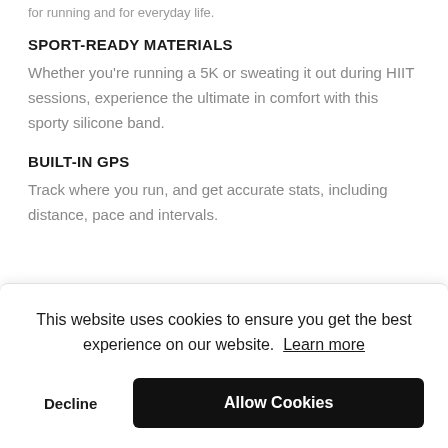for running and for everyday life.
SPORT-READY MATERIALS
Whether you're running a 5K or sweating it out during HIIT sessions, experience the ultimate in comfort with this sporty silicone band.
BUILT-IN GPS
Track where you run, and get accurate stats, including distance, pace and intervals.
This website uses cookies to ensure you get the best experience on our website. Learn more
Decline | Allow Cookies